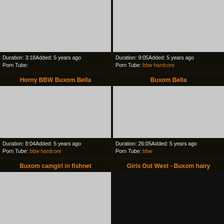[Figure (screenshot): Video thumbnail placeholder (gray), left top card]
Duration: 3:18Added: 5 years ago
Porn Tube:
[Figure (screenshot): Video thumbnail placeholder (gray), right top card]
Duration: 9:05Added: 5 years ago
Porn Tube: bbw hardcore
Horny BBW Buxom Bella
[Figure (screenshot): Video thumbnail placeholder (gray), left middle card]
Duration: 8:04Added: 5 years ago
Porn Tube: bbw hardcore
Buxom Bella
[Figure (screenshot): Video thumbnail placeholder (gray), right middle card]
Duration: 26:05Added: 5 years ago
Porn Tube: bbw
Buxom camgirl in fishnet
Girls Out West - Buxom hairy